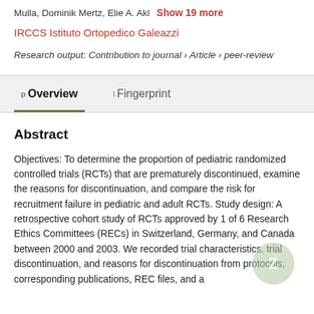Mulla, Dominik Mertz, Elie A. Akl   Show 19 more
IRCCS Istituto Ortopedico Galeazzi
Research output: Contribution to journal › Article › peer-review
Overview   Fingerprint
Abstract
Objectives: To determine the proportion of pediatric randomized controlled trials (RCTs) that are prematurely discontinued, examine the reasons for discontinuation, and compare the risk for recruitment failure in pediatric and adult RCTs. Study design: A retrospective cohort study of RCTs approved by 1 of 6 Research Ethics Committees (RECs) in Switzerland, Germany, and Canada between 2000 and 2003. We recorded trial characteristics, trial discontinuation, and reasons for discontinuation from protocols, corresponding publications, REC files, and a